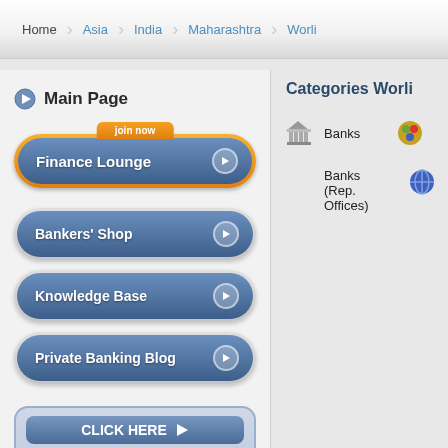Home > Asia > India > Maharashtra > Worli
Main Page
Finance Lounge (join now)
Bankers' Shop
Knowledge Base
Private Banking Blog
CLICK HERE to list your company for a free 60 days no obligation trial period on privatebanking.com
Categories Worli
Banks
Banks (Rep. Offices)